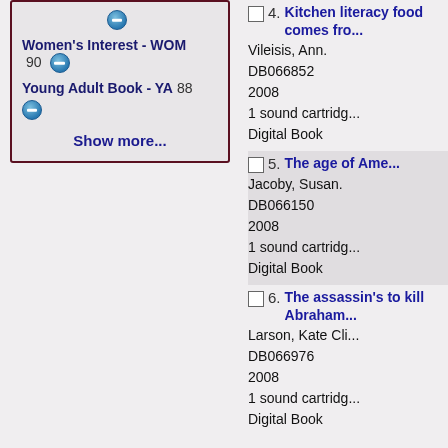Women's Interest - WOM 90
Young Adult Book - YA 88
Show more...
4. Kitchen literacy food comes fro... Vileisis, Ann. DB066852 2008 1 sound cartridg... Digital Book
5. The age of Ame... Jacoby, Susan. DB066150 2008 1 sound cartridg... Digital Book
6. The assassin's to kill Abraham... Larson, Kate Cli... DB066976 2008 1 sound cartridg... Digital Book